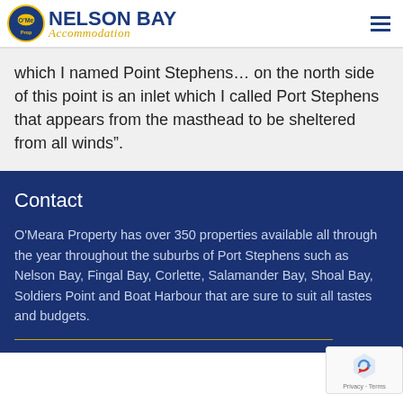Nelson Bay Accommodation — O'Meara Property logo and navigation
which I named Point Stephens… on the north side of this point is an inlet which I called Port Stephens that appears from the masthead to be sheltered from all winds”.
Contact
O'Meara Property has over 350 properties available all through the year throughout the suburbs of Port Stephens such as Nelson Bay, Fingal Bay, Corlette, Salamander Bay, Shoal Bay, Soldiers Point and Boat Harbour that are sure to suit all tastes and budgets.